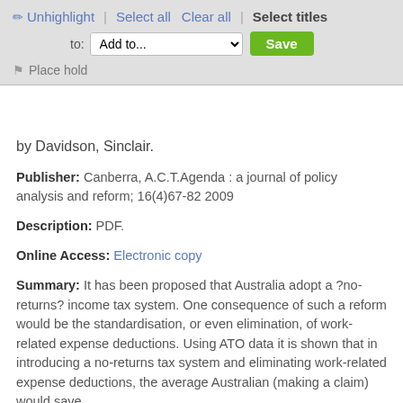Unhighlight | Select all  Clear all | Select titles  to: Add to... [Save]  Place hold
by Davidson, Sinclair.
Publisher: Canberra, A.C.T.Agenda : a journal of policy analysis and reform; 16(4)67-82 2009
Description: PDF.
Online Access: Electronic copy
Summary: It has been proposed that Australia adopt a ?no-returns? income tax system. One consequence of such a reform would be the standardisation, or even elimination, of work-related expense deductions. Using ATO data it is shown that in introducing a no-returns tax system and eliminating work-related expense deductions, the average Australian (making a claim) would save
Availability: Items available for loan: Brotherhood of St Laurence (1).